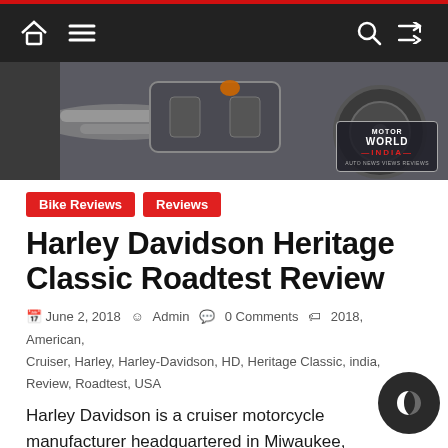Motor World India — Navigation bar with home, menu, search, and shuffle icons
[Figure (photo): Underside of a Harley Davidson motorcycle with Motor World India logo overlay in bottom right]
Bike Reviews   Reviews
Harley Davidson Heritage Classic Roadtest Review
June 2, 2018  Admin  0 Comments  2018, American, Cruiser, Harley, Harley-Davidson, HD, Heritage Classic, india, Review, Roadtest, USA
Harley Davidson is a cruiser motorcycle manufacturer headquartered in Miwaukee, Wisconsin, with over 115 years of History. Its inception dates back to 1903 Harley S Harley & his childhood friend Arthur David came together to work on their Motor-bicycle in North